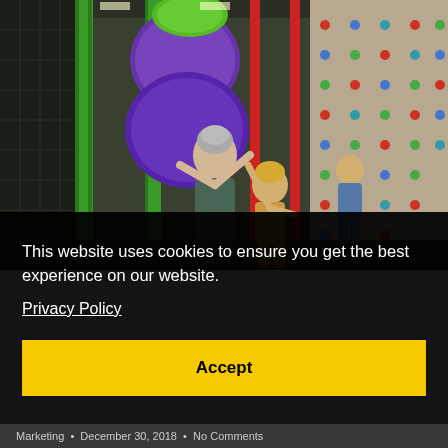[Figure (photo): Indoor playground photo showing a woman and a child high-fiving in front of colorful play equipment including green and purple climbing structures and a climbing wall with colorful holds. Another child is visible in the background near the climbing wall.]
This website uses cookies to ensure you get the best experience on our website.
Privacy Policy
Accept
Marketing  •  December 30, 2018  •  No Comments